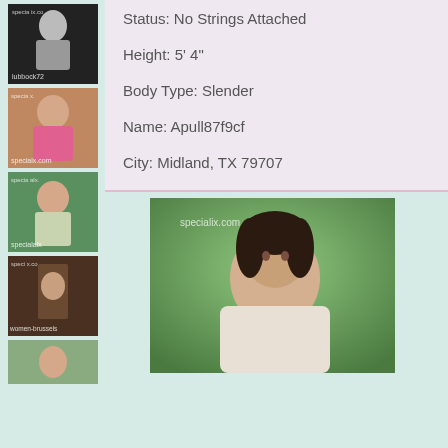[Figure (photo): Thumbnail photo 1 - black and white figure with watermark 'lubbock72']
[Figure (photo): Thumbnail photo 2 - person in pink top with watermark 'specialix.com']
[Figure (photo): Thumbnail photo 3 - person outdoors with watermark 'specialalx']
[Figure (photo): Thumbnail photo 4 - person indoors with watermark 'women-brussels']
[Figure (photo): Thumbnail photo 5 - partial, cropped at bottom]
Status: No Strings Attached
Height: 5' 4"
Body Type: Slender
Name: Apull87f9cf
City: Midland, TX 79707
[Figure (photo): Large photo of dark-haired woman outdoors with watermark 'specialix.com']